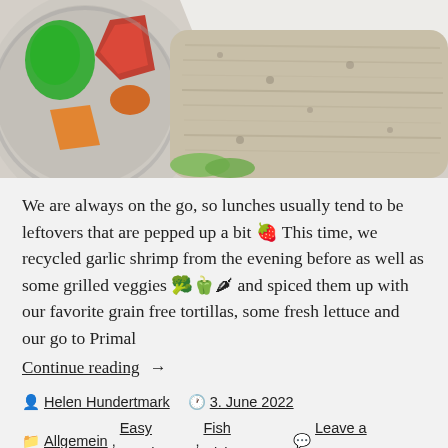[Figure (photo): Close-up photo of a food wrap/burrito made with a grain-free tortilla, filled with shrimp and grilled vegetables including red and green peppers, on a plate.]
We are always on the go, so lunches usually tend to be leftovers that are pepped up a bit 🍓 This time, we recycled garlic shrimp from the evening before as well as some grilled veggies 🥦🫑🌶 and spiced them up with our favorite grain free tortillas, some fresh lettuce and our go to Primal
Continue reading →
Helen Hundertmark   3. June 2022   Allgemein, Easy Lunch, Fish Dishes   Leave a comment